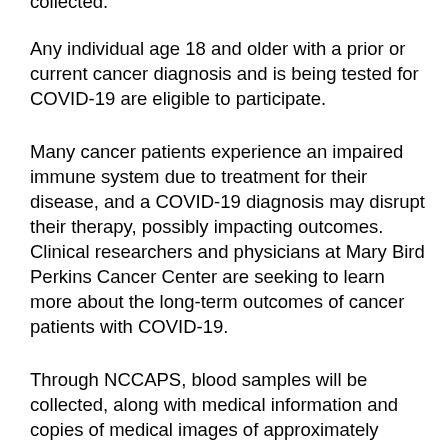collected.
Any individual age 18 and older with a prior or current cancer diagnosis and is being tested for COVID-19 are eligible to participate.
Many cancer patients experience an impaired immune system due to treatment for their disease, and a COVID-19 diagnosis may disrupt their therapy, possibly impacting outcomes. Clinical researchers and physicians at Mary Bird Perkins Cancer Center are seeking to learn more about the long-term outcomes of cancer patients with COVID-19.
Through NCCAPS, blood samples will be collected, along with medical information and copies of medical images of approximately